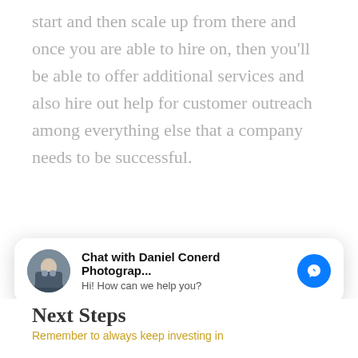start and then scale up from there and once you are able to hire on, then you'll be able to offer additional services and also hire out help for customer outreach among everything else that a company needs to be successful.
[Figure (screenshot): Facebook Messenger chat widget popup showing avatar photo of Daniel Conerd, bold title 'Chat with Daniel Conerd Photograp...' and subtitle 'Hi! How can we help you?' with Messenger blue icon on the right.]
Next Steps
Remember to always keep investing in